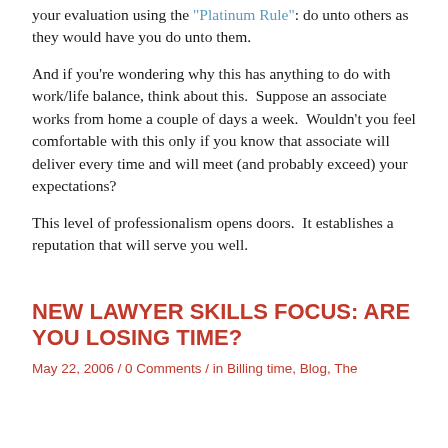your evaluation using the “Platinum Rule”: do unto others as they would have you do unto them.
And if you’re wondering why this has anything to do with work/life balance, think about this.  Suppose an associate works from home a couple of days a week.  Wouldn’t you feel comfortable with this only if you know that associate will deliver every time and will meet (and probably exceed) your expectations?
This level of professionalism opens doors.  It establishes a reputation that will serve you well.
NEW LAWYER SKILLS FOCUS: ARE YOU LOSING TIME?
May 22, 2006 / 0 Comments / in Billing time, Blog, The